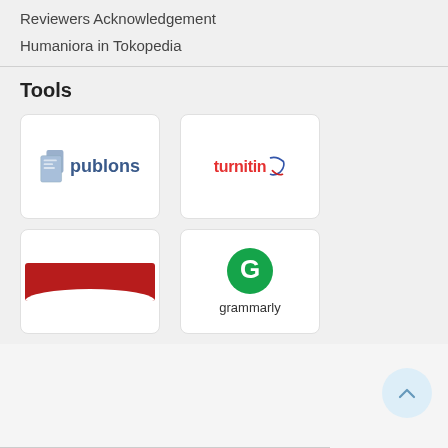Reviewers Acknowledgement
Humaniora in Tokopedia
Tools
[Figure (logo): Publons logo - stylized document icon with 'publons' text in dark blue]
[Figure (logo): Turnitin logo - red text 'turnitin' with blue/red checkmark icon]
[Figure (logo): Partial red banner logo, partially visible]
[Figure (logo): Grammarly logo - green circle with white G icon and text 'grammarly' below]